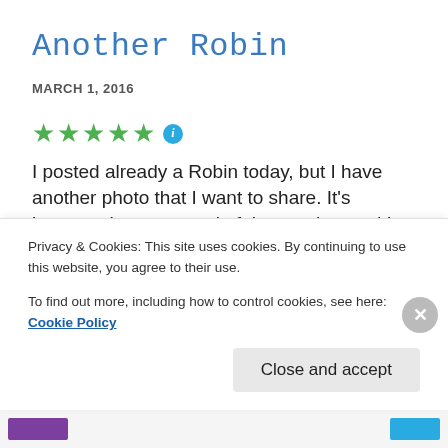Another Robin
MARCH 1, 2016
[Figure (other): Five green star rating icons followed by a blue info icon]
I posted already a Robin today, but I have another photo that I want to share. It's because I saw several of them today, and I had a little bit of luck to get some decent shots. The days get brighter now that we start to see a little bit of sunshine. I hope to see even better lighting conditions soon, because I'd like to take some pictures with low ISO and less image noise. The photo in this post
Privacy & Cookies: This site uses cookies. By continuing to use this website, you agree to their use.
To find out more, including how to control cookies, see here: Cookie Policy
Close and accept